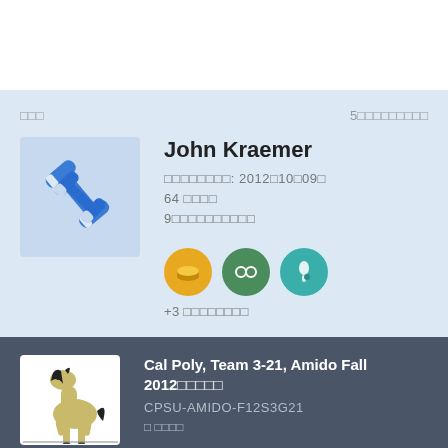□□□
5□□□□□□□□□
John Kraemer
□□□□□□□□: 2012□10□09□
64 □□□□
9□□□□□□□□□□
+3 □□□□□□□□
Cal Poly, Team 3-21, Amido Fall 2012□□□□□
CPSU-AMIDO-F12S3G21
□ □□□□